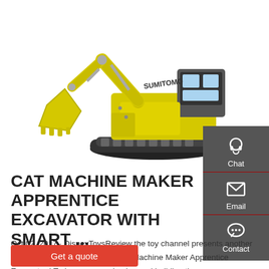[Figure (photo): Yellow Sumitomo excavator/construction machine on white background]
CAT MACHINE MAKER APPRENTICE EXCAVATOR WITH SMART ...
Oct 02, 2017 · DisneyToysReview the toy channel presents another unboxing video: Cat Construction Machine Maker Apprentice Excavator ! Today we are unboxing and building th
Get a quote